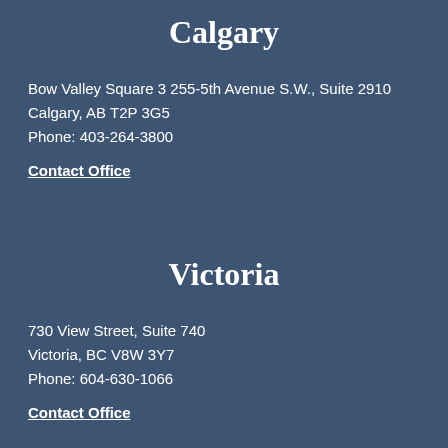Calgary
Bow Valley Square 3 255-5th Avenue S.W., Suite 2910
Calgary, AB T2P 3G5
Phone: 403-264-3800
Contact Office
Victoria
730 View Street, Suite 740
Victoria, BC V8W 3Y7
Phone: 604-630-1066
Contact Office